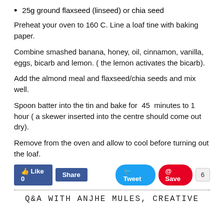25g ground flaxseed (linseed) or chia seed
Preheat your oven to 160 C. Line a loaf tine with baking paper.
Combine smashed banana, honey, oil, cinnamon, vanilla, eggs, bicarb and lemon. ( the lemon activates the bicarb).
Add the almond meal and flaxseed/chia seeds and mix well.
Spoon batter into the tin and bake for  45  minutes to 1 hour ( a skewer inserted into the centre should come out dry).
Remove from the oven and allow to cool before turning out the loaf.
[Figure (other): Social sharing buttons: Like 0, Share (Facebook), Tweet (Twitter), Save (Pinterest) with count 6]
Q&A WITH ANJHE MULES, CREATIVE